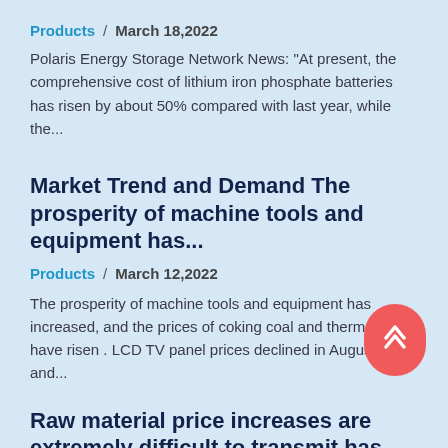Products  /  March 18,2022
Polaris Energy Storage Network News: "At present, the comprehensive cost of lithium iron phosphate batteries has risen by about 50% compared with last year, while the...
Market Trend and Demand The prosperity of machine tools and equipment has...
Products  /  March 12,2022
The prosperity of machine tools and equipment has increased, and the prices of coking coal and thermal coal have risen . LCD TV panel prices declined in August, and...
Raw material price increases are extremely difficult to transmit has an...